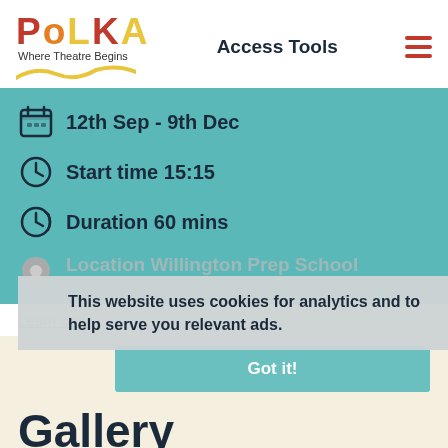[Figure (logo): Polka Theatre logo with colourful text 'POLKA' and tagline 'Where Theatre Begins' with yellow wave underneath]
Access Tools
12th Sep - 9th Dec
Start time 15:15
Duration 60 mins
Location Willington Prep School
This website uses cookies for analytics and to help serve you relevant ads.
Learn more
Got it!
Gallery